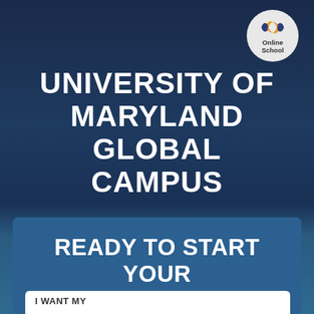[Figure (logo): Online School logo — circular badge with navy/gold icon and 'Online School' text]
UNIVERSITY OF MARYLAND GLOBAL CAMPUS
READY TO START YOUR JOURNEY?
I WANT MY